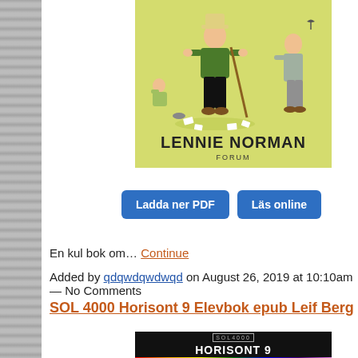[Figure (illustration): Book cover with yellowish-green background showing cartoon characters, bold text 'LENNIE NORMAN' and publisher 'FORUM']
Ladda ner PDF
Läs online
En kul bok om… Continue
Added by qdqwdqwdwqd on August 26, 2019 at 10:10am — No Comments
SOL 4000 Horisont 9 Elevbok epub Leif Berg
[Figure (illustration): Book cover with black background, SOL 4000 logo, bold white text 'HORISONT 9' and rainbow bar at bottom]